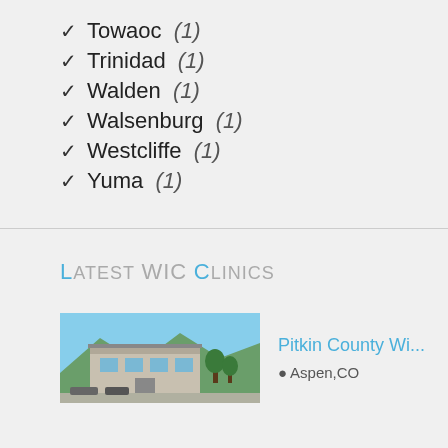✓ Towaoc (1)
✓ Trinidad (1)
✓ Walden (1)
✓ Walsenburg (1)
✓ Westcliffe (1)
✓ Yuma (1)
Latest WIC Clinics
[Figure (photo): Exterior photo of Pitkin County WIC clinic building in Aspen, CO]
Pitkin County Wi...
Aspen, CO